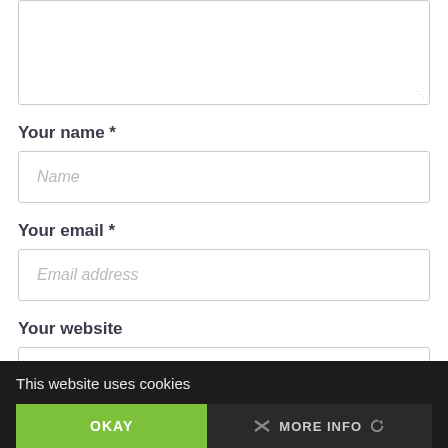[Figure (screenshot): Textarea input box (partially visible, cropped at top)]
Your name *
[Figure (screenshot): Text input field with placeholder 'Name']
Your email *
[Figure (screenshot): Text input field with placeholder 'Email address']
Your website
[Figure (screenshot): Text input field with placeholder 'Website' (partially visible)]
This website uses cookies
OKAY   MORE INFO